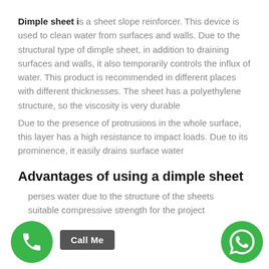Dimple sheet is a sheet slope reinforcer. This device is used to clean water from surfaces and walls. Due to the structural type of dimple sheet, in addition to draining surfaces and walls, it also temporarily controls the influx of water. This product is recommended in different places with different thicknesses. The sheet has a polyethylene structure, so the viscosity is very durable
Due to the presence of protrusions in the whole surface, this layer has a high resistance to impact loads. Due to its prominence, it easily drains surface water
Advantages of using a dimple sheet
perses water due to the structure of the sheets
suitable compressive strength for the project